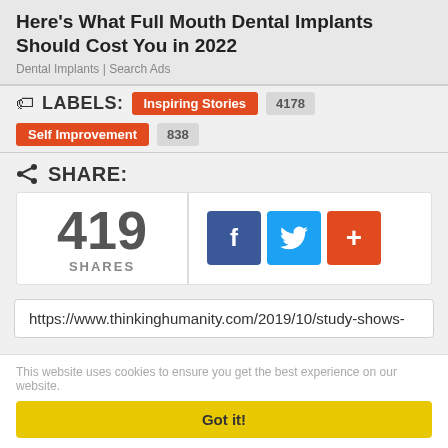Here's What Full Mouth Dental Implants Should Cost You in 2022
Dental Implants | Search Ads
🏷 LABELS: Inspiring Stories 4178  Self Improvement 838
SHARE: 419 SHARES
https://www.thinkinghumanity.com/2019/10/study-shows-
This website uses cookies to ensure you get the best experience on our website.
Got it!